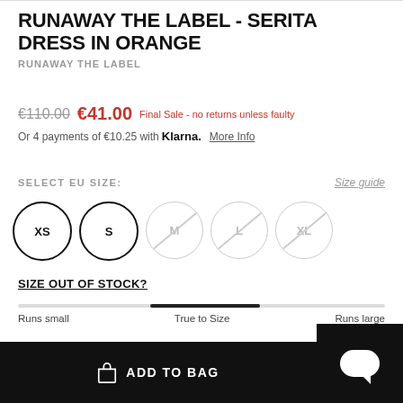RUNAWAY THE LABEL - SERITA DRESS IN ORANGE
RUNAWAY THE LABEL
€110.00  €41.00  Final Sale - no returns unless faulty
Or 4 payments of €10.25 with Klarna.  More Info
SELECT EU SIZE:
Size guide
[Figure (other): Size selector with circles labeled XS (available), S (available), M (unavailable, crossed out), L (unavailable, crossed out), XL (unavailable, crossed out)]
SIZE OUT OF STOCK?
[Figure (infographic): Fit indicator bar showing position between Runs small, True to Size, and Runs large, with indicator near True to Size]
Runs small    True to Size    Runs large
ADD TO BAG